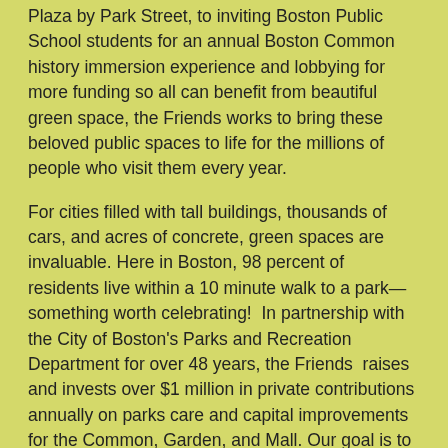Plaza by Park Street, to inviting Boston Public School students for an annual Boston Common history immersion experience and lobbying for more funding so all can benefit from beautiful green space, the Friends works to bring these beloved public spaces to life for the millions of people who visit them every year.
For cities filled with tall buildings, thousands of cars, and acres of concrete, green spaces are invaluable. Here in Boston, 98 percent of residents live within a 10 minute walk to a park—something worth celebrating!  In partnership with the City of Boston's Parks and Recreation Department for over 48 years, the Friends  raises and invests over $1 million in private contributions annually on parks care and capital improvements for the Common, Garden, and Mall. Our goal is to ensure these remain healthy spaces that all of Boston can take pride in and enjoy. Our public spaces age, renew, and change with the times, but always provide countless benefits, serving as an important refuge in urban areas. Every neighborhood and community is strengthened by the protection and enhancement of their green spaces.